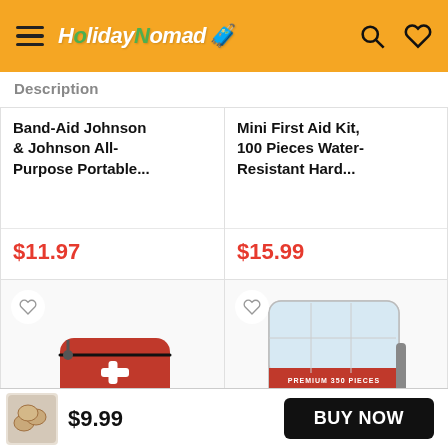HolidayNomad
Description
Band-Aid Johnson & Johnson All-Purpose Portable…
$11.97
Mini First Aid Kit, 100 Pieces Water-Resistant Hard…
$15.99
[Figure (photo): Hand holding a red First Aid Kit zipper pouch with white cross logo]
[Figure (photo): Premium 350 Pieces First Aid hard case kit product box]
$9.99
BUY NOW